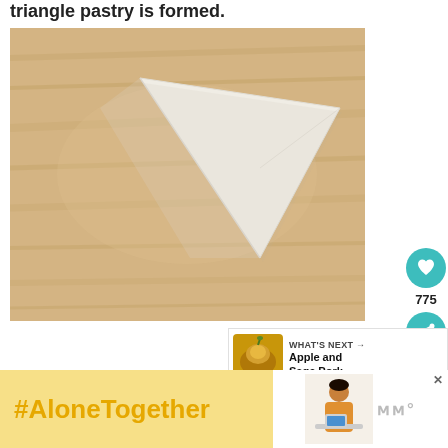triangle pastry is formed.
[Figure (photo): A white folded triangular pastry dough sitting on a light wood cutting board, photographed from above.]
775
WHAT'S NEXT → Apple and Sage Pork...
#AloneTogether